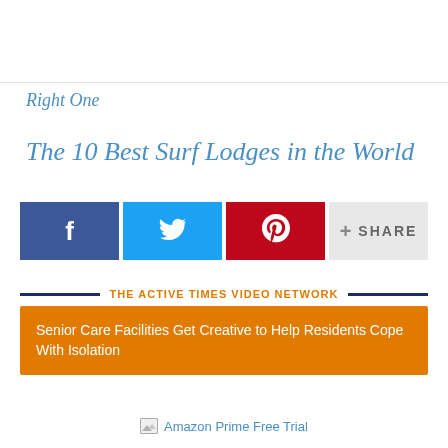Right One
The 10 Best Surf Lodges in the World
[Figure (infographic): Social sharing buttons: Facebook (blue), Twitter (light blue), Pinterest (red), and a Share button (light gray)]
THE ACTIVE TIMES VIDEO NETWORK
Senior Care Facilities Get Creative to Help Residents Cope With Isolation
[Figure (other): Amazon Prime Free Trial image link placeholder]